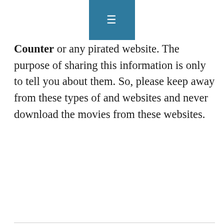[Figure (other): Navigation bar with hamburger menu icon (three horizontal lines) on teal/blue background]
Counter or any pirated website. The purpose of sharing this information is only to tell you about them. So, please keep away from these types of and websites and never download the movies from these websites.
Share this post
[Figure (other): Facebook share button - circle with letter f]
Related Tags:
counter movie , hd movie counter , latest movie counter , movie counter , movie counter 2019